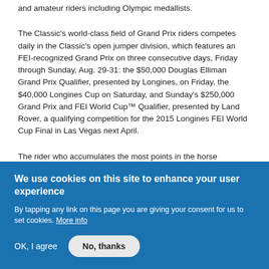and amateur riders including Olympic medallists.
The Classic's world-class field of Grand Prix riders competes daily in the Classic's open jumper division, which features an FEI-recognized Grand Prix on three consecutive days, Friday through Sunday, Aug. 29-31: the $50,000 Douglas Elliman Grand Prix Qualifier, presented by Longines, on Friday, the $40,000 Longines Cup on Saturday, and Sunday's $250,000 Grand Prix and FEI World Cup™ Qualifier, presented by Land Rover, a qualifying competition for the 2015 Longines FEI World Cup Final in Las Vegas next April.
The rider who accumulates the most points in the horse
We use cookies on this site to enhance your user experience
By tapping any link on this page you are giving your consent for us to set cookies. More info
OK, I agree
No, thanks